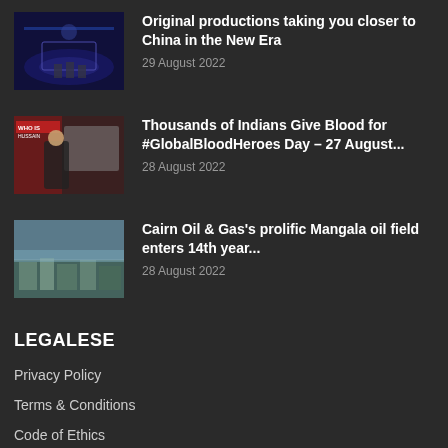[Figure (photo): TV studio stage with blue lighting and performers]
Original productions taking you closer to China in the New Era
29 August 2022
[Figure (photo): Person in dark clothing standing near a vehicle with WHO/HUSSAIN signage]
Thousands of Indians Give Blood for #GlobalBloodHeroes Day – 27 August...
28 August 2022
[Figure (photo): Aerial view of Mangala oil field industrial facility]
Cairn Oil & Gas's prolific Mangala oil field enters 14th year...
28 August 2022
LEGALESE
Privacy Policy
Terms & Conditions
Code of Ethics
Donation Terms